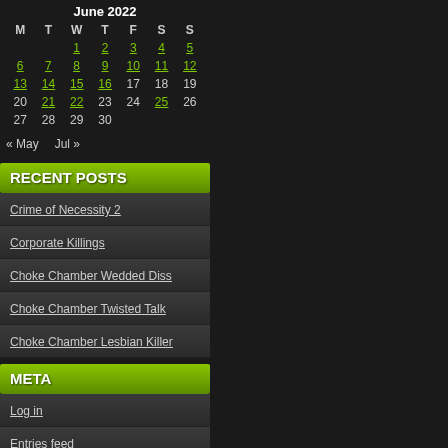| M | T | W | T | F | S | S |
| --- | --- | --- | --- | --- | --- | --- |
|  |  | 1 | 2 | 3 | 4 | 5 |
| 6 | 7 | 8 | 9 | 10 | 11 | 12 |
| 13 | 14 | 15 | 16 | 17 | 18 | 19 |
| 20 | 21 | 22 | 23 | 24 | 25 | 26 |
| 27 | 28 | 29 | 30 |  |  |  |
« May   Jul »
RECENT POSTS
Crime of Necessity 2
Corporate Killings
Choke Chamber Wedded Diss
Choke Chamber Twisted Talk
Choke Chamber Lesbian Killer
META
Log in
Entries feed
Comments feed